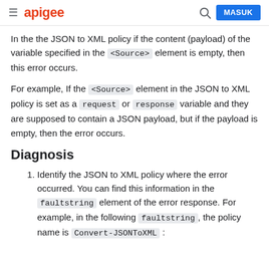apigee | MASUK
In the the JSON to XML policy if the content (payload) of the variable specified in the <Source> element is empty, then this error occurs.
For example, If the <Source> element in the JSON to XML policy is set as a request or response variable and they are supposed to contain a JSON payload, but if the payload is empty, then the error occurs.
Diagnosis
1. Identify the JSON to XML policy where the error occurred. You can find this information in the faultstring element of the error response. For example, in the following faultstring, the policy name is Convert-JSONToXML: